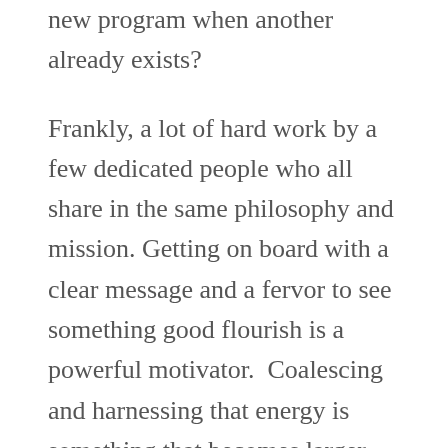new program when another already exists?
Frankly, a lot of hard work by a few dedicated people who all share in the same philosophy and mission. Getting on board with a clear message and a fervor to see something good flourish is a powerful motivator.  Coalescing and harnessing that energy is something that becomes larger than yourself and gratifying to experience.  I'm pleased to say that with our involvement with the Cedarburg Dawgs, we went from